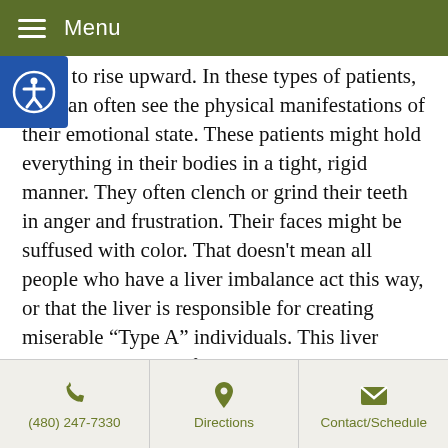Menu
tends to rise upward. In these types of patients, you can often see the physical manifestations of their emotional state. These patients might hold everything in their bodies in a tight, rigid manner. They often clench or grind their teeth in anger and frustration. Their faces might be suffused with color. That doesn't mean all people who have a liver imbalance act this way, or that the liver is responsible for creating miserable “Type A” individuals. This liver energy is necessary for keeping us on track. Without it, we wouldn’t have a sense of purpose, and we wouldn’t be able to get anything done.
The key is balance. We could take another look at that line the angry man was in, and take into consideration the woman who was bumped into. Her imbalance of liver energy in the opposite direction meant a lack of
(480) 247-7330 | Directions | Contact/Schedule